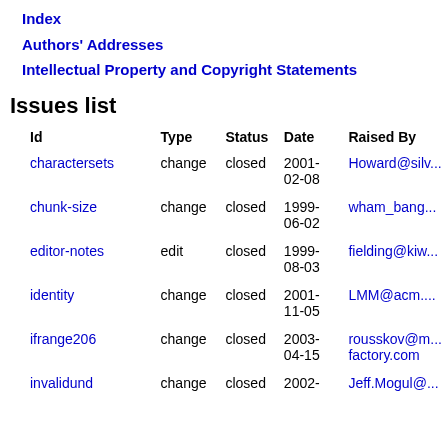Index
Authors' Addresses
Intellectual Property and Copyright Statements
Issues list
| Id | Type | Status | Date | Raised By |
| --- | --- | --- | --- | --- |
| charactersets | change | closed | 2001-02-08 | Howard@sil... |
| chunk-size | change | closed | 1999-06-02 | wham_bang... |
| editor-notes | edit | closed | 1999-08-03 | fielding@kiw... |
| identity | change | closed | 2001-11-05 | LMM@acm.... |
| ifrange206 | change | closed | 2003-04-15 | rousskov@m... factory.com |
| invalidund | change | closed | 2002- | Jeff.Mogul@... |